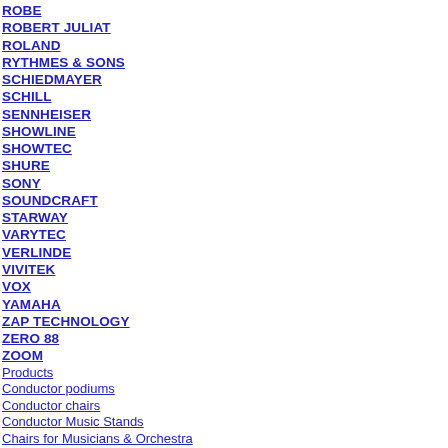ROBE
ROBERT JULIAT
ROLAND
RYTHMES & SONS
SCHIEDMAYER
SCHILL
SENNHEISER
SHOWLINE
SHOWTEC
SHURE
SONY
SOUNDCRAFT
STARWAY
VARYTEC
VERLINDE
VIVITEK
VOX
YAMAHA
ZAP TECHNOLOGY
ZERO 88
ZOOM
Products
Conductor podiums
Conductor chairs
Conductor Music Stands
Chairs for Musicians & Orchestra